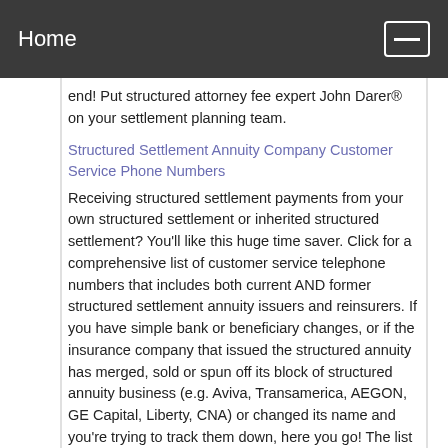Home
end! Put structured attorney fee expert John Darer® on your settlement planning team.
Structured Settlement Annuity Company Customer Service Phone Numbers
Receiving structured settlement payments from your own structured settlement or inherited structured settlement? You'll like this huge time saver. Click for a comprehensive list of customer service telephone numbers that includes both current AND former structured settlement annuity issuers and reinsurers. If you have simple bank or beneficiary changes, or if the insurance company that issued the structured annuity has merged, sold or spun off its block of structured annuity business (e.g. Aviva, Transamerica, AEGON, GE Capital, Liberty, CNA) or changed its name and you're trying to track them down, here you go! The list is regularly updated. Last updated July 13, 2022.
Structured Settlement Quote Lock-Ins | What You Need To Know